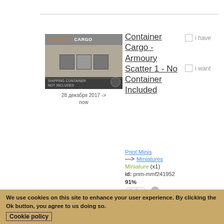[Figure (photo): Product image of Armoury Cargo shipping container miniature with text label 'ARMOURY CARGO' at top and 'SHIPPING CONTAINER NOT INCLUDED' at bottom, circular badge in corner]
28 декабря 2017 -> now
Container Cargo - Armoury Scatter 1 - No Container Included
i have
i want
Print Minis
→ Miniatures
Miniature (x1)
id: pnm-mmf241952
91%
Active
Scale: 32mm
Material:
Digital
We use cookies on this site to enhance your user experience. By clicking the Ok button, you agree to us doing so. Cookie policy